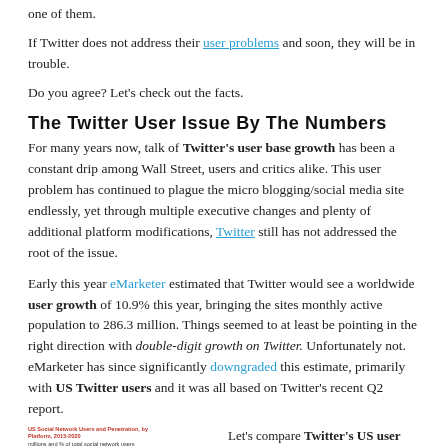one of them.
If Twitter does not address their user problems and soon, they will be in trouble.
Do you agree? Let's check out the facts.
The Twitter User Issue By The Numbers
For many years now, talk of Twitter's user base growth has been a constant drip among Wall Street, users and critics alike. This user problem has continued to plague the micro blogging/social media site endlessly, yet through multiple executive changes and plenty of additional platform modifications, Twitter still has not addressed the root of the issue.
Early this year eMarketer estimated that Twitter would see a worldwide user growth of 10.9% this year, bringing the sites monthly active population to 286.3 million. Things seemed to at least be pointing in the right direction with double-digit growth on Twitter. Unfortunately not. eMarketer has since significantly downgraded this estimate, primarily with US Twitter users and it was all based on Twitter's recent Q2 report.
[Figure (table-as-image): US Social Network Users and Penetration, by Platform, 2015-2020. Table showing millions and % of total social network users for Facebook, Instagram, and Twitter users across years 2015-2020.]
Let's compare Twitter's US user base and user growth rate projections with a few other sites so you can understand the dilemma they are in